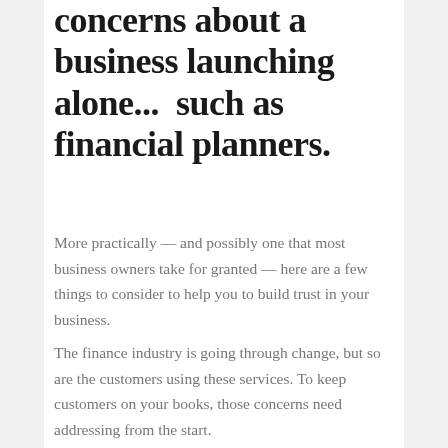concerns about a business launching alone...  such as financial planners.
More practically — and possibly one that most business owners take for granted — here are a few things to consider to help you to build trust in your business.
The finance industry is going through change, but so are the customers using these services. To keep customers on your books, those concerns need addressing from the start.
Change in business ownership and organisational structure is always a time for customers to be wary and for business owners to be extra vigilant in ensuring a smooth and